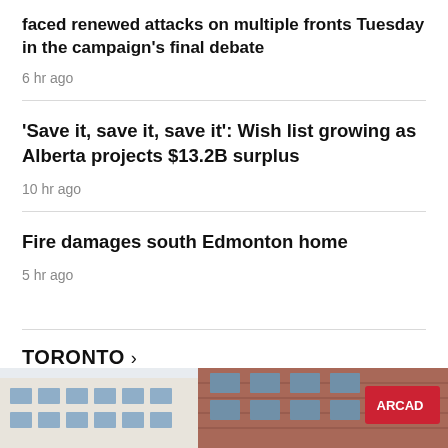faced renewed attacks on multiple fronts Tuesday in the campaign's final debate
6 hr ago
'Save it, save it, save it': Wish list growing as Alberta projects $13.2B surplus
10 hr ago
Fire damages south Edmonton home
5 hr ago
TORONTO >
[Figure (photo): Exterior photo of a commercial building with brick facade and signage including 'Arcad' (partial), blue-grey sky visible at top.]